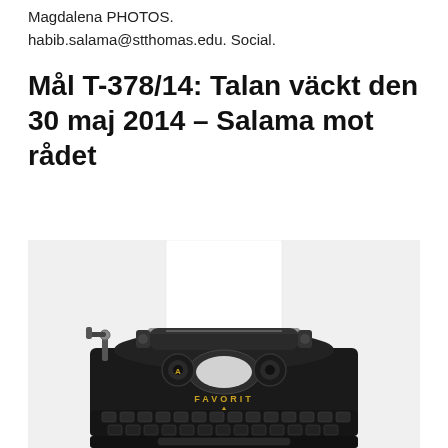Magdalena PHOTOS. habib.salama@stthomas.edu. Social.
Mål T-378/14: Talan väckt den 30 maj 2014 – Salama mot rådet
[Figure (photo): Overhead photo of a vintage black FAVORIT typewriter with a white sheet of paper loaded, on a light grey/white background.]